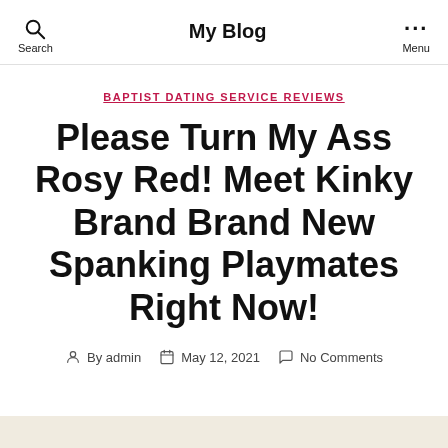My Blog
BAPTIST DATING SERVICE REVIEWS
Please Turn My Ass Rosy Red! Meet Kinky Brand Brand New Spanking Playmates Right Now!
By admin  May 12, 2021  No Comments